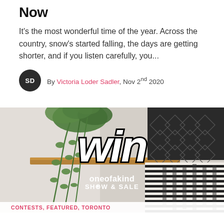Now
It's the most wonderful time of the year. Across the country, snow's started falling, the days are getting shorter, and if you listen carefully, you...
By Victoria Loder Sadler, Nov 2nd 2020
[Figure (photo): Indoor shelf scene with trailing green plants, a geometric black patterned pillow, a black and white striped pillow, and a wood shelf. Overlaid text reads 'win' in large retro bold font and 'oneofakind SHOW & SALE' in white text below.]
CONTESTS, FEATURED, TORONTO